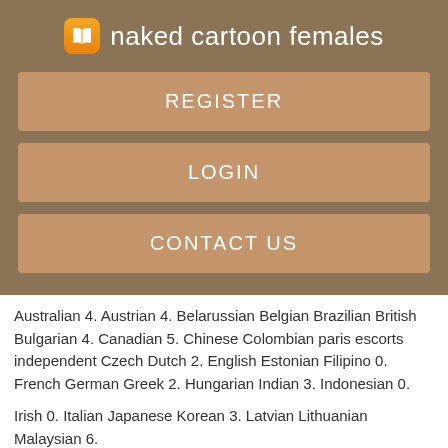naked cartoon females
REGISTER
LOGIN
CONTACT US
Australian 4. Austrian 4. Belarussian Belgian Brazilian British Bulgarian 4. Canadian 5. Chinese Colombian paris escorts independent Czech Dutch 2. English Estonian Filipino 0. French German Greek 2. Hungarian Indian 3. Indonesian 0.
Irish 0. Italian Japanese Korean 3. Latvian Lithuanian Malaysian 6.
Independent Paris Escorts | Punterlink
Mexican 3. Moldovan 8. Polish Panscock aau 8. Romanian